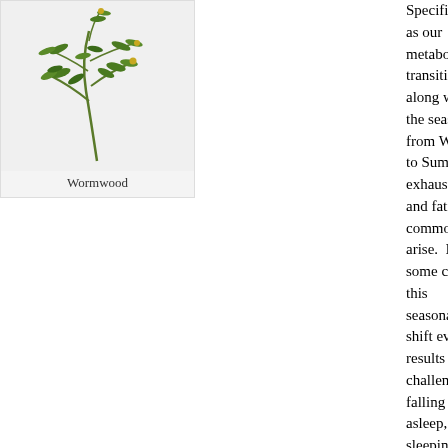[Figure (illustration): Botanical illustration of a Wormwood plant with green leaves and small yellow flowers on branches against a light gray background]
Wormwood
Specifically, as our metabolism transitions along with the seasons from Winter to Summer, exhaustion and fatigue commonly arise. In some cases, this seasonal shift even results in challenges falling asleep, or sleeping through the night.
Wormwood, and more specifically Hildegard's wormwood wine, which practitioners of Hildegard medicine incorporate as a part of her Spring Cleanse offers a completely natural alternative to support organs and strengthen the immune system, during this seasonal shift.
Wormwood for Spring through Summer
Hildegard prescribed some form of wormwood during the months of May though October to help stimulate secretion among internal organs. The purpose of incorporating wormwood results in a natural cleanse, preparing for the